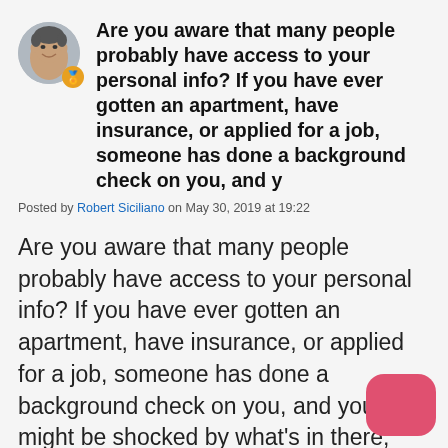Are you aware that many people probably have access to your personal info? If you have ever gotten an apartment, have insurance, or applied for a job, someone has done a background check on you, and y
Posted by Robert Siciliano on May 30, 2019 at 19:22
Are you aware that many people probably have access to your personal info? If you have ever gotten an apartment, have insurance, or applied for a job, someone has done a background check on you, and you might be shocked by what's in there, including your debts, income, loan payments, and more. On top of this, there are also companies collecting information
[Figure (illustration): Red/pink rounded square chat bubble icon in bottom right corner]